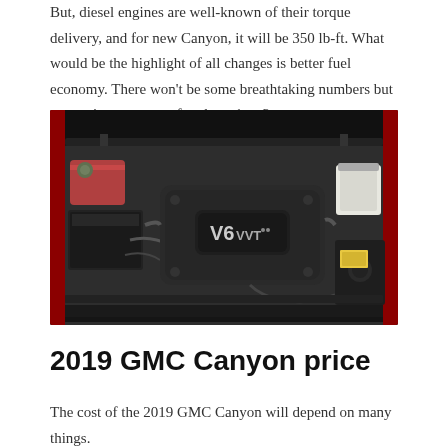But, diesel engines are well-known of their torque delivery, and for new Canyon, it will be 350 lb-ft. What would be the highlight of all changes is better fuel economy. There won't be some breathtaking numbers but expect improvement for about 1 or 2 mpg.
[Figure (photo): Engine bay of a GMC Canyon showing a V6 VVT engine cover, with red vehicle body visible at edges, various engine components including coolant reservoir and air filter assembly visible.]
2019 GMC Canyon price
The cost of the 2019 GMC Canyon will depend on many things.